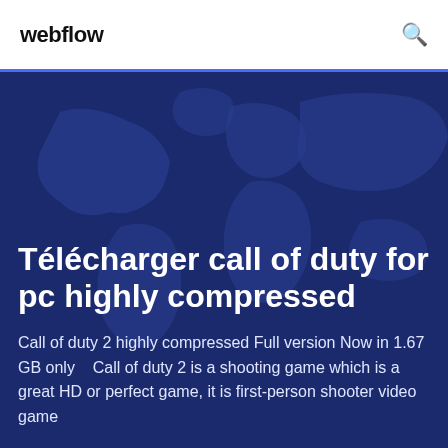webflow
Télécharger call of duty for pc highly compressed
Call of duty 2 highly compressed Full version Now in 1.67 GB only    Call of duty 2 is a shooting game which is a great HD or perfect game, it is first-person shooter video game